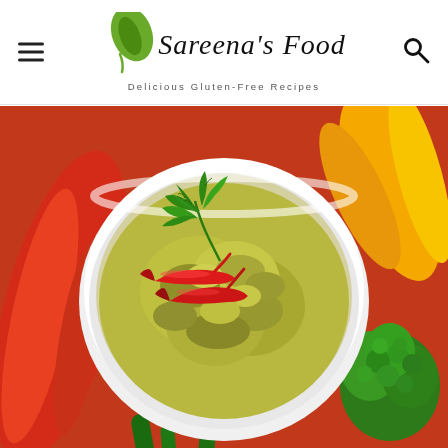Sareena's Food — Delicious Gluten-Free Recipes
[Figure (photo): A white ramekin bowl filled with green avocado or eggplant dip/guacamole, garnished with fresh cilantro leaves and two red chili peppers, surrounded by colorful raw vegetables including red bell pepper strips, yellow bell pepper, broccoli, and green cucumber/scallion, viewed from above on a vibrant red background.]